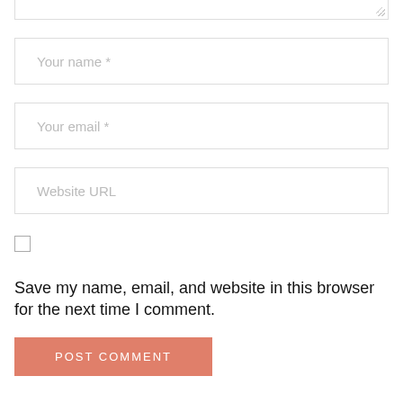[Figure (screenshot): Partial bottom edge of a textarea input field with a resize handle in the lower right corner]
Your name *
Your email *
Website URL
Save my name, email, and website in this browser for the next time I comment.
POST COMMENT